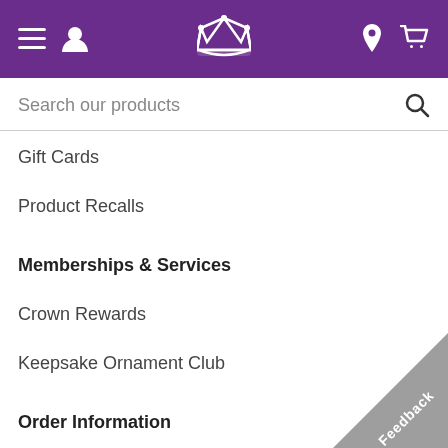[Figure (screenshot): Purple navigation bar with hamburger menu, user icon, crown logo, location pin icon, and cart icon]
Search our products
Gift Cards
Product Recalls
Memberships & Services
Crown Rewards
Keepsake Ornament Club
Order Information
Order Status
Shipping & Delivery
Returns